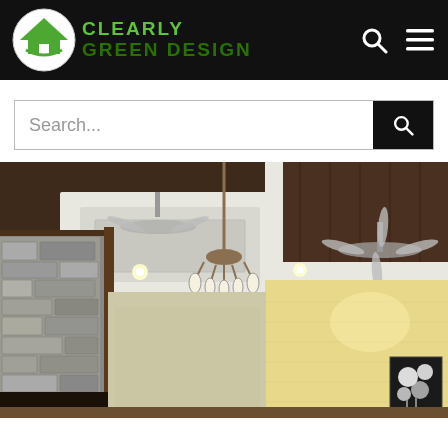Clearly Green Design — navigation bar with logo, search icon, and menu icon
Search...
[Figure (photo): Interior room photo showing a luxury living room ceiling with wood panels, recessed lighting, ceiling fans, a chandelier, a stone accent wall on the left, and a framed artwork on the cream wall on the right.]